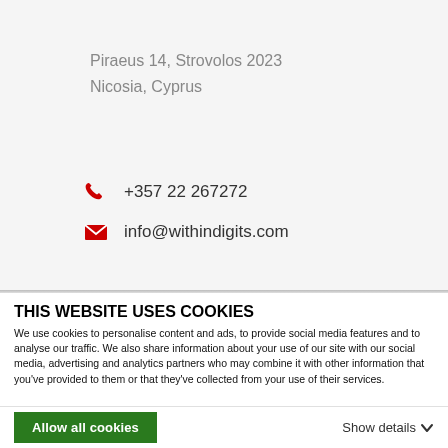Piraeus 14, Strovolos 2023
Nicosia, Cyprus
+357 22 267272
info@withindigits.com
THIS WEBSITE USES COOKIES
We use cookies to personalise content and ads, to provide social media features and to analyse our traffic. We also share information about your use of our site with our social media, advertising and analytics partners who may combine it with other information that you've provided to them or that they've collected from your use of their services.
Allow all cookies
Show details